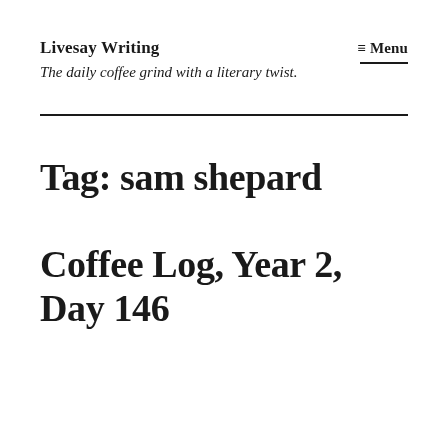Livesay Writing
The daily coffee grind with a literary twist.
≡ Menu
Tag: sam shepard
Coffee Log, Year 2, Day 146